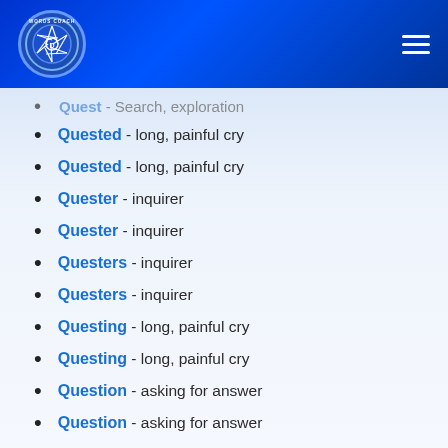[Figure (logo): Words Coach logo — circular blue badge with camera aperture icon and text 'WORDS COACH']
Quest - Search, exploration (partial/truncated)
Quested - long, painful cry
Quested - long, painful cry
Quester - inquirer
Quester - inquirer
Questers - inquirer
Questers - inquirer
Questing - long, painful cry
Questing - long, painful cry
Question - asking for answer
Question - asking for answer